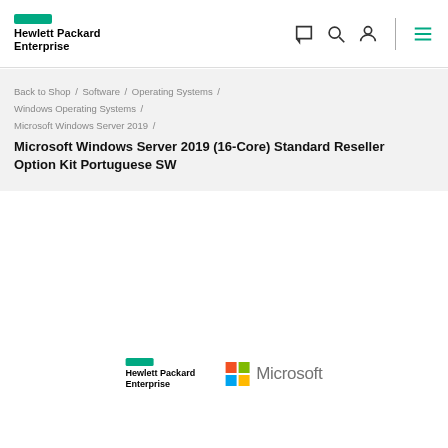Hewlett Packard Enterprise
Back to Shop / Software / Operating Systems / Windows Operating Systems / Microsoft Windows Server 2019 /
Microsoft Windows Server 2019 (16-Core) Standard Reseller Option Kit Portuguese SW
[Figure (logo): Hewlett Packard Enterprise logo and Microsoft logo side by side]